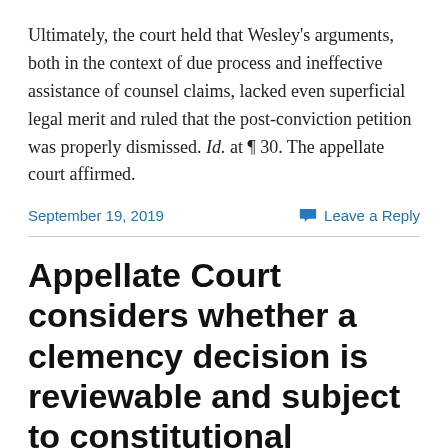Ultimately, the court held that Wesley’s arguments, both in the context of due process and ineffective assistance of counsel claims, lacked even superficial legal merit and ruled that the post-conviction petition was properly dismissed. Id. at ¶ 30. The appellate court affirmed.
September 19, 2019
Leave a Reply
Appellate Court considers whether a clemency decision is reviewable and subject to constitutional challenge
The appellant in People v. Ramsey, 2019 IL App (3d)